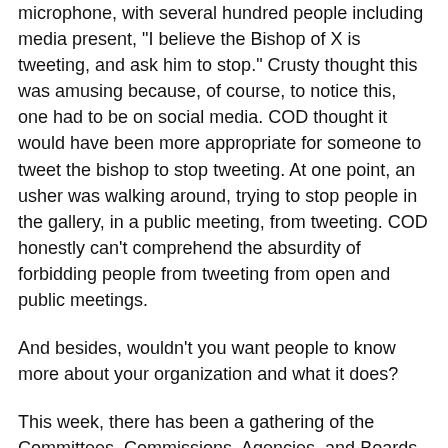microphone, with several hundred people including media present, "I believe the Bishop of X is tweeting, and ask him to stop."  Crusty thought this was amusing because, of course, to notice this, one had to be on social media.  COD thought it would have been more appropriate for someone to tweet the bishop to stop tweeting.  At one point, an usher was walking around, trying to stop people in the gallery, in a public meeting, from tweeting.  COD honestly can't comprehend the absurdity of forbidding people from tweeting from open and public meetings.
And besides, wouldn't you want people to know more about your organization and what it does?
This week, there has been a gathering of the Committees, Commissions, Agencies, and Boards of the Episcopal Church (CCABs).  Following it on Twitter, it seemed like General Convention, Part 2: an uneasy coexistence of old communication and new communication (which isn't that new anymore).  Lots of buzz about a tweet-up, as if this was something new and extraordinary -- one tweet actually asked, "It would be nice to have tweets about what is